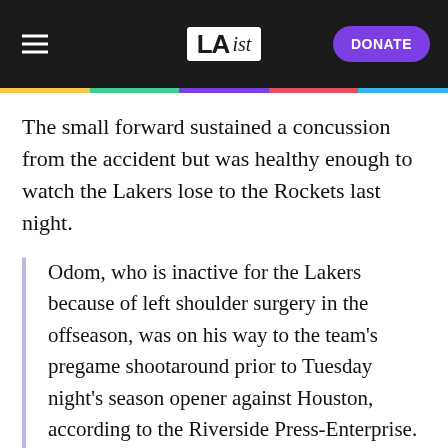LAist — DONATE
The small forward sustained a concussion from the accident but was healthy enough to watch the Lakers lose to the Rockets last night.
Odom, who is inactive for the Lakers because of left shoulder surgery in the offseason, was on his way to the team's pregame shootaround prior to Tuesday night's season opener against Houston, according to the Riverside Press-Enterprise. The paper reported that Odom went to the hospital in an ambulance and was given a CT scan. That showed the slight concussion, per ESPN.